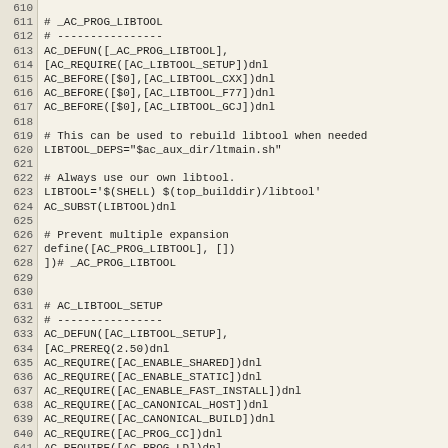[Figure (screenshot): Source code listing showing lines 610-641 of a shell/autoconf script (libtool configuration macros). Lines include _AC_PROG_LIBTOOL and AC_LIBTOOL_SETUP macro definitions with autoconf directives.]